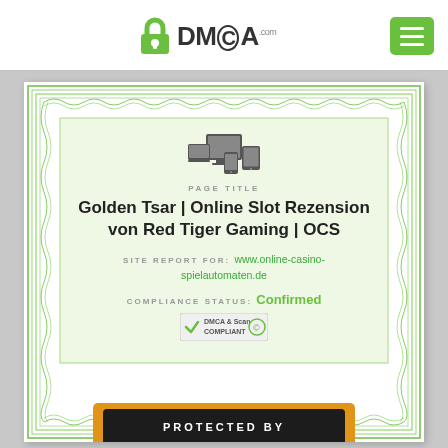[Figure (logo): DMCA.com logo with padlock icon]
[Figure (illustration): Green hamburger menu button]
[Figure (infographic): DMCA certificate with green guilloche border, device icons, page title, site report, compliance status Confirmed, and DMCA compliant badge]
Golden Tsar | Online Slot Rezension von Red Tiger Gaming | OCS
PAGE TITLE
SITE REPORT FOR: www.online-casino-spielautomaten.de
COMPLIANCE STATUS: Confirmed
PROTECTED BY